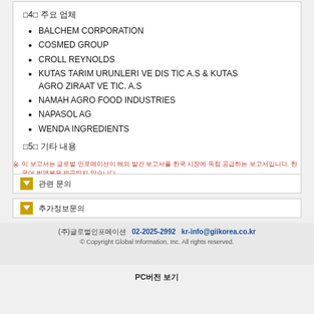□4□ 주요 업체
BALCHEM CORPORATION
COSMED GROUP
CROLL REYNOLDS
KUTAS TARIM URUNLERI VE DIS TIC A.S & KUTAS AGRO ZIRAAT VE TIC. A.S
NAMAH AGRO FOOD INDUSTRIES
NAPASOL AG
WENDA INGREDIENTS
□5□ 기타 내용
※ 이 보고서는 글로벌 인포메이션이 해외 발간 보고서를 한국 시장에 독점 공급하는 보고서입니다. 한국어 번역본은 제공되지 않습니다.
관련 문의
추가정보문의
(주)글로벌인포메이션  02-2025-2992  kr-info@giikorea.co.kr
© Copyright Global Information, Inc. All rights reserved.
PC버전 보기